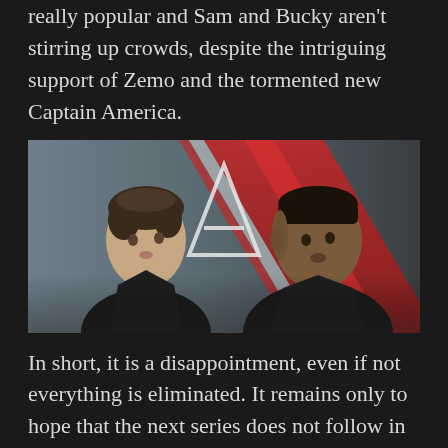really popular and Sam and Bucky aren't stirring up crowds, despite the intriguing support of Zemo and the tormented new Captain America.
[Figure (photo): Promotional poster for The Falcon and the Winter Soldier showing two men standing back-to-back in front of a red and white diagonal stripe background. The man on the left has curly brown hair and wears a dark jacket. The man on the right is Black with a close-cropped hairstyle and wears a dark jacket. A Captain America shield logo is visible in the background.]
In short, it is a disappointment, even if not everything is eliminated. It remains only to hope that the next series does not follow in the footsteps of the elderly. Unfortunately it seems likely WandaVision It remains an isolated case.